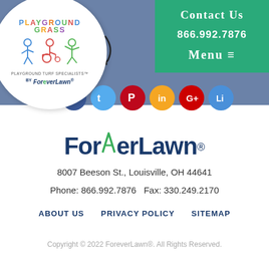[Figure (logo): Playground Grass by ForeverLawn circular logo with colorful text and children figures]
Contact Us
866.992.7876
Menu ≡
[Figure (logo): ForeverLawn main logo with green leaf V and registered trademark symbol]
8007 Beeson St., Louisville, OH 44641
Phone: 866.992.7876   Fax: 330.249.2170
ABOUT US
PRIVACY POLICY
SITEMAP
Copyright © 2022 ForeverLawn®. All Rights Reserved.